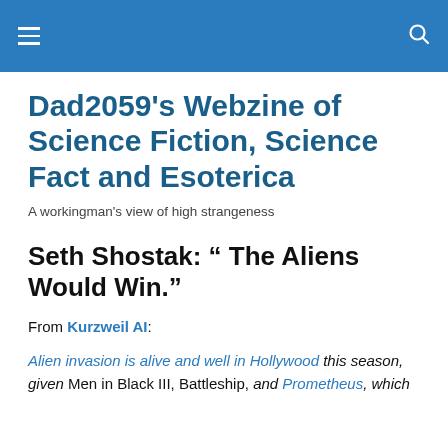[navigation header bar with hamburger menu and search icon]
Dad2059's Webzine of Science Fiction, Science Fact and Esoterica
A workingman's view of high strangeness
Seth Shostak: “ The Aliens Would Win.”
From Kurzweil AI:
Alien invasion is alive and well in Hollywood this season, given Men in Black III, Battleship, and Prometheus, which